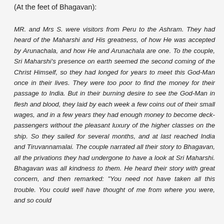(At the feet of Bhagavan):
MR. and Mrs S. were visitors from Peru to the Ashram. They had heard of the Maharshi and His greatness, of how He was accepted by Arunachala, and how He and Arunachala are one. To the couple, Sri Maharshi's presence on earth seemed the second coming of the Christ Himself, so they had longed for years to meet this God-Man once in their lives. They were too poor to find the money for their passage to India. But in their burning desire to see the God-Man in flesh and blood, they laid by each week a few coins out of their small wages, and in a few years they had enough money to become deck-passengers without the pleasant luxury of the higher classes on the ship. So they sailed for several months, and at last reached India and Tiruvannamalai. The couple narrated all their story to Bhagavan, all the privations they had undergone to have a look at Sri Maharshi. Bhagavan was all kindness to them. He heard their story with great concern, and then remarked: "You need not have taken all this trouble. You could well have thought of me from where you were, and so could